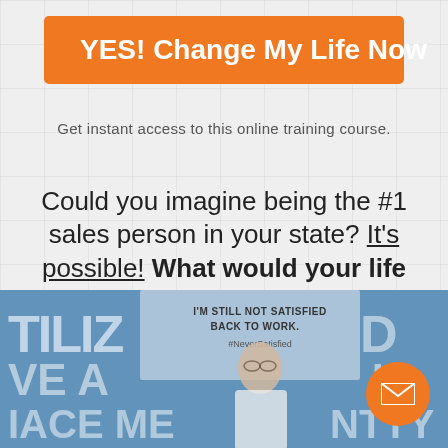YES! Change My Life Now
Get instant access to this online training course.
Could you imagine being the #1 sales person in your state? It's possible! What would your life look like if you earned $400,000+ a year?
[Figure (photo): A man presenting in front of a whiteboard with text 'I'M STILL NOT SATISFIED BACK TO WORK. #NeverSatisfied' and partial words 'TILIZED', 'VE A', 'IACE ME', 'MENTALITY' visible. Blue-tinted image.]